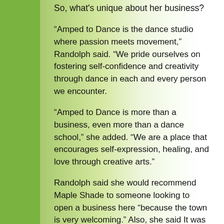So, what's unique about her business?
“Amped to Dance is the dance studio where passion meets movement,” Randolph said. “We pride ourselves on fostering self-confidence and creativity through dance in each and every person we encounter.
“Amped to Dance is more than a business, even more than a dance school,” she added. “We are a place that encourages self-expression, healing, and love through creative arts.”
Randolph said she would recommend Maple Shade to someone looking to open a business here “because the town is very welcoming.” Also, she said It was a fairly simple process to get started.
She said it has been pleasant being a member of the Maple Shade Business Association.